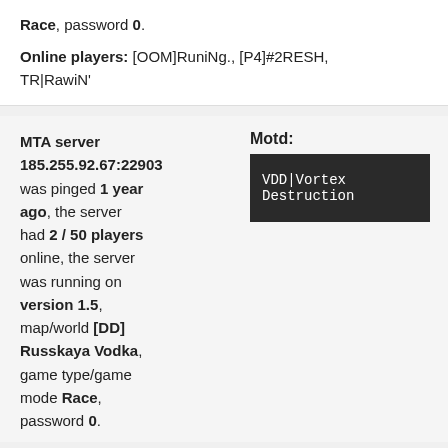Race, password 0.
Online players: [OOM]RuniNg., [P4]#2RESH, TR|RawiN'
MTA server 185.255.92.67:22903 was pinged 1 year ago, the server had 2 / 50 players online, the server was running on version 1.5, map/world [DD] Russkaya Vodka, game type/game mode Race, password 0.
Motd:
[Figure (screenshot): Dark terminal/motd box showing text: VDD|Vortex Destruction]